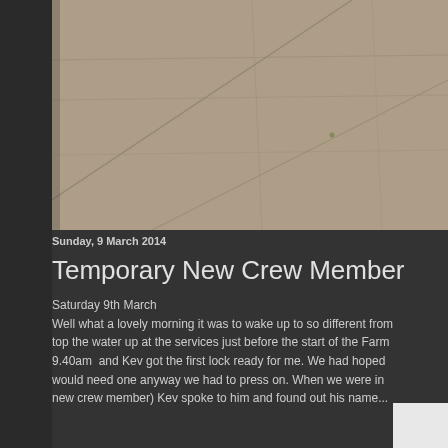[Figure (photo): Aerial or overhead photograph of a stone or tarmac surface with diagonal crack/seam lines visible, in sandy brown and grey tones.]
Sunday, 9 March 2014
Temporary New Crew Member
Saturday 9th March
Well what a lovely morning it was to wake up to so different from top the water up at the services just before the start of the Farm 9.40am  and Kev got the first lock ready for me. We had hoped would need one anyway we had to press on. When we were in new crew member) Kev spoke to him and found out his name...